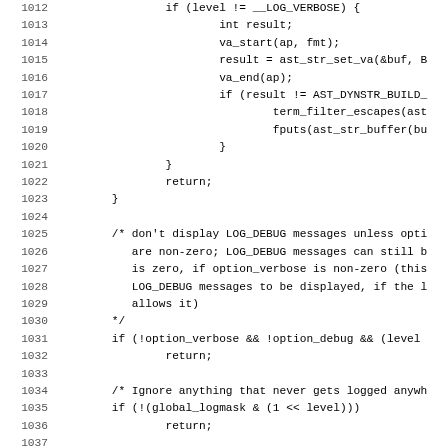[Figure (screenshot): Source code listing in monospace font, showing lines 1012–1043 of a C source file with line numbers on the left. Code includes conditional logic, logging, and string building operations.]